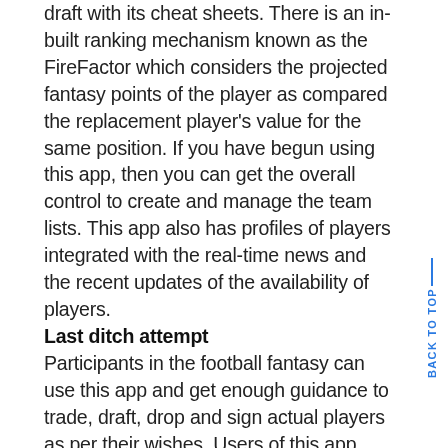draft with its cheat sheets. There is an in-built ranking mechanism known as the FireFactor which considers the projected fantasy points of the player as compared the replacement player's value for the same position. If you have begun using this app, then you can get the overall control to create and manage the team lists. This app also has profiles of players integrated with the real-time news and the recent updates of the availability of players.
Last ditch attempt
Participants in the football fantasy can use this app and get enough guidance to trade, draft, drop and sign actual players as per their wishes. Users of this app feel like the real football team owner and make positive changes in their way to use this app. They create their own imaginary teams of real players of professional football. They check the global statistics and use the best-in-class